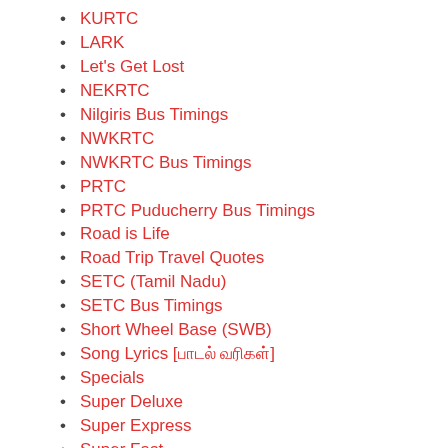KURTC
LARK
Let's Get Lost
NEKRTC
Nilgiris Bus Timings
NWKRTC
NWKRTC Bus Timings
PRTC
PRTC Puducherry Bus Timings
Road is Life
Road Trip Travel Quotes
SETC (Tamil Nadu)
SETC Bus Timings
Short Wheel Base (SWB)
Song Lyrics [பாடல் வரிகள்]
Specials
Super Deluxe
Super Express
Super Fast
Tamil Nadu